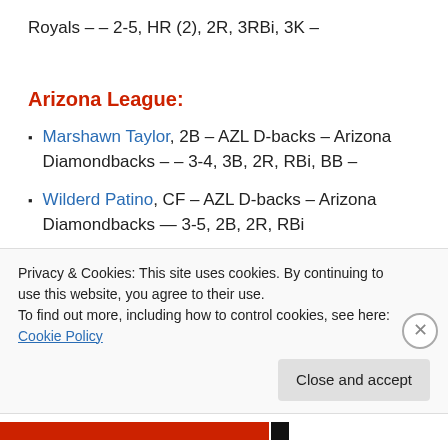Royals – – 2-5, HR (2), 2R, 3RBi, 3K –
Arizona League:
Marshawn Taylor, 2B – AZL D-backs – Arizona Diamondbacks – – 3-4, 3B, 2R, RBi, BB –
Wilderd Patino, CF – AZL D-backs – Arizona Diamondbacks — 3-5, 2B, 2R, RBi
Privacy & Cookies: This site uses cookies. By continuing to use this website, you agree to their use.
To find out more, including how to control cookies, see here: Cookie Policy